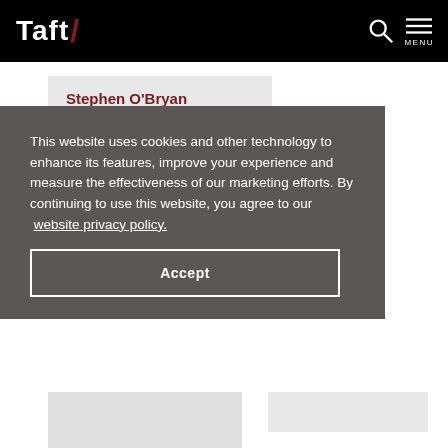Taft/ [logo with search and menu icons]
Stephen O'Bryan
This website uses cookies and other technology to enhance its features, improve your experience and measure the effectiveness of our marketing efforts. By continuing to use this website, you agree to our website privacy policy.